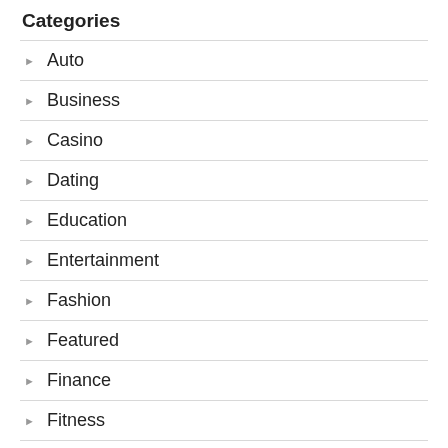Categories
Auto
Business
Casino
Dating
Education
Entertainment
Fashion
Featured
Finance
Fitness
Food